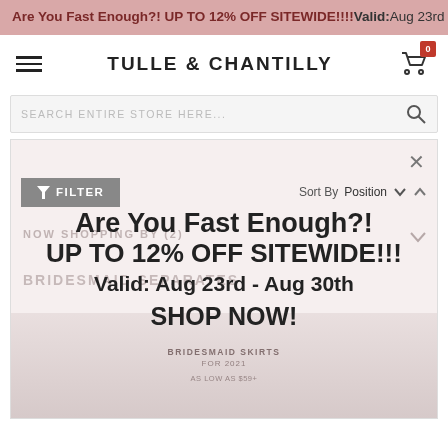Are You Fast Enough?! UP TO 12% OFF SITEWIDE!!!!Valid: Aug 23rd - Aug 30th Quick Lin
TULLE & CHANTILLY
SEARCH ENTIRE STORE HERE...
[Figure (screenshot): E-commerce website screenshot of Tulle & Chantilly showing a promotional overlay popup with text: Are You Fast Enough?! UP TO 12% OFF SITEWIDE!!! Valid: Aug 23rd - Aug 30th SHOP NOW! Over a bridesmaid separates filter/category page with filter bar and sort options.]